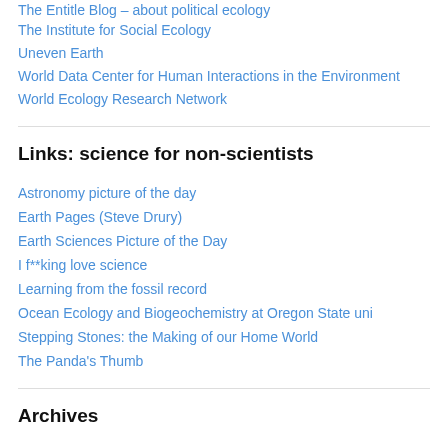The Entitle Blog – about political ecology
The Institute for Social Ecology
Uneven Earth
World Data Center for Human Interactions in the Environment
World Ecology Research Network
Links: science for non-scientists
Astronomy picture of the day
Earth Pages (Steve Drury)
Earth Sciences Picture of the Day
I f**king love science
Learning from the fossil record
Ocean Ecology and Biogeochemistry at Oregon State uni
Stepping Stones: the Making of our Home World
The Panda's Thumb
Archives